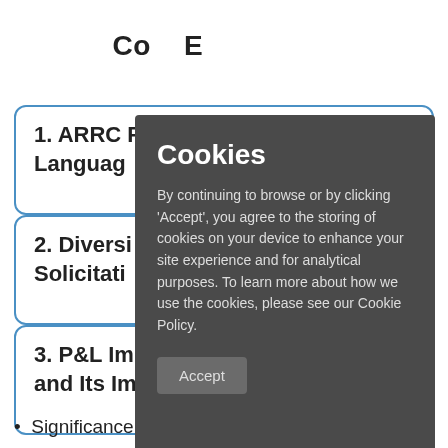Co... E... (partially obscured)
1. ARRC P... Languag...
2. Diversi... Solicitati...
3. P&L Im... and Its Im...
• Significance of value transfer for existing
[Figure (screenshot): Cookie consent modal dialog overlaid on background page content. Title: 'Cookies'. Body text: 'By continuing to browse or by clicking Accept, you agree to the storing of cookies on your device to enhance your site experience and for analytical purposes. To learn more about how we use the cookies, please see our Cookie Policy.' Button: 'Accept']